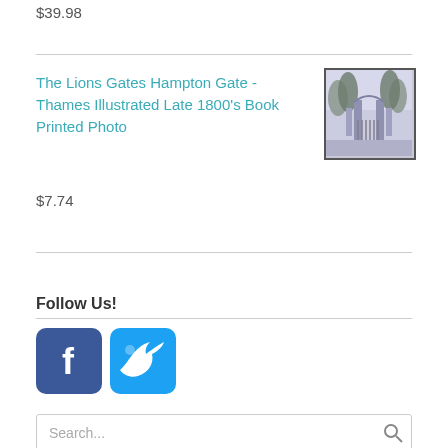$39.98
The Lions Gates Hampton Gate - Thames Illustrated Late 1800's Book Printed Photo
[Figure (photo): Small thumbnail photo of an ornate gate with trees, printed in blue-grey tones]
$7.74
Follow Us!
[Figure (logo): Facebook and Twitter social media icon buttons]
Search...